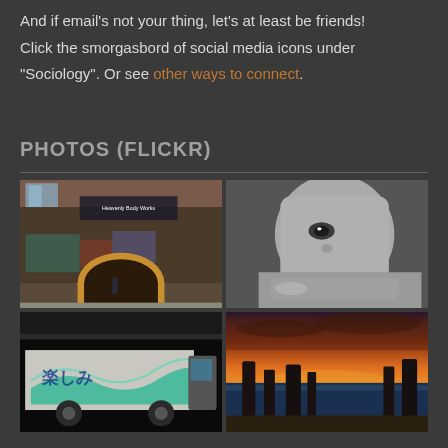And if email's not your thing, let's at least be friends! Click the smorgasbord of social media icons under "Sociology". Or see other ways to connect.
PHOTOS (FLICKR)
[Figure (photo): Photo of a graffiti-covered building with a tunnel arch entrance, brick facade with 'Heavenly Body Works' sign, and a person standing in front]
[Figure (photo): Black and white close-up portrait of a young child resting chin on hands, looking up]
[Figure (photo): Photo of a graffiti-covered truck with teal/green wave design and Asian characters, parked in a dark area]
[Figure (photo): Sunset photo of coastal rock formations (Twelve Apostles or similar) silhouetted against dramatic orange and purple sky]